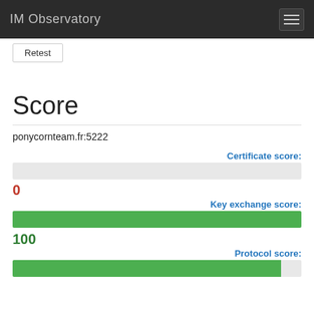IM Observatory
Retest
Score
ponycornteam.fr:5222
Certificate score:
0
Key exchange score:
100
Protocol score: